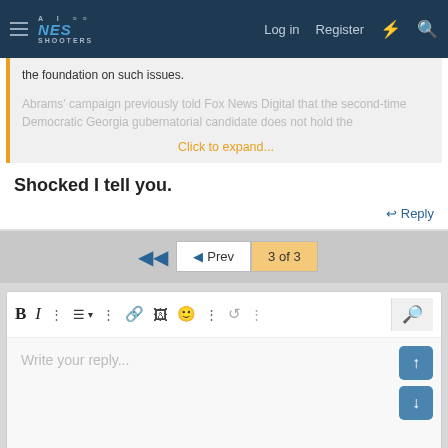NES Shooters — Log in  Register
the foundation on such issues.
Abrams' campaign previously told Fox News Digital that the second-time Democratic Georgia gubernatorial candidate does not hold the
Click to expand...
Shocked I tell you.
Reply
3 of 3
Write your reply...
Post reply